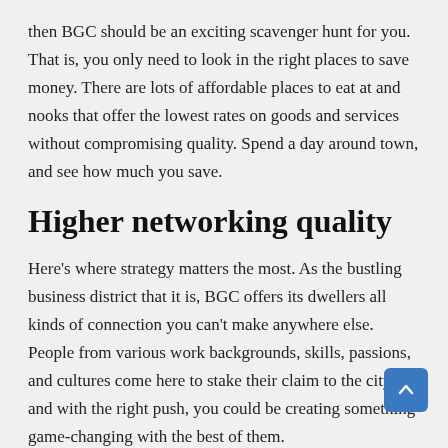then BGC should be an exciting scavenger hunt for you. That is, you only need to look in the right places to save money. There are lots of affordable places to eat at and nooks that offer the lowest rates on goods and services without compromising quality. Spend a day around town, and see how much you save.
Higher networking quality
Here's where strategy matters the most. As the bustling business district that it is, BGC offers its dwellers all kinds of connection you can't make anywhere else. People from various work backgrounds, skills, passions, and cultures come here to stake their claim to the city, and with the right push, you could be creating something game-changing with the best of them.
If you're a vigorous go-getter, then BGC should be less